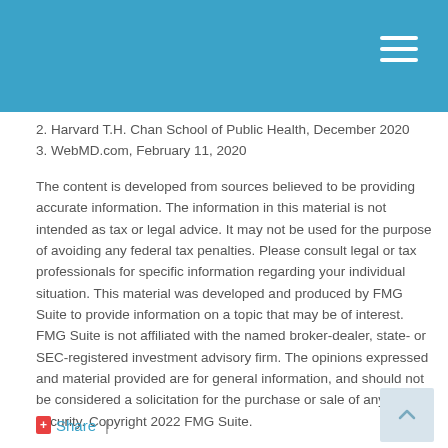2. Harvard T.H. Chan School of Public Health, December 2020
3. WebMD.com, February 11, 2020
The content is developed from sources believed to be providing accurate information. The information in this material is not intended as tax or legal advice. It may not be used for the purpose of avoiding any federal tax penalties. Please consult legal or tax professionals for specific information regarding your individual situation. This material was developed and produced by FMG Suite to provide information on a topic that may be of interest. FMG Suite is not affiliated with the named broker-dealer, state- or SEC-registered investment advisory firm. The opinions expressed and material provided are for general information, and should not be considered a solicitation for the purchase or sale of any security. Copyright 2022 FMG Suite.
Share  |